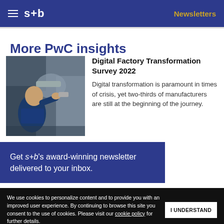s+b | Newsletters
More PwC insights
[Figure (photo): A worker in a blue shirt working on industrial machinery, leaning in close to a component.]
Digital Factory Transformation Survey 2022
Digital transformation is paramount in times of crisis, yet two-thirds of manufacturers are still at the beginning of the journey.
Get s+b's award-winning newsletter delivered to your inbox.
We use cookies to personalize content and to provide you with an improved user experience. By continuing to browse this site you consent to the use of cookies. Please visit our cookie policy for further details.